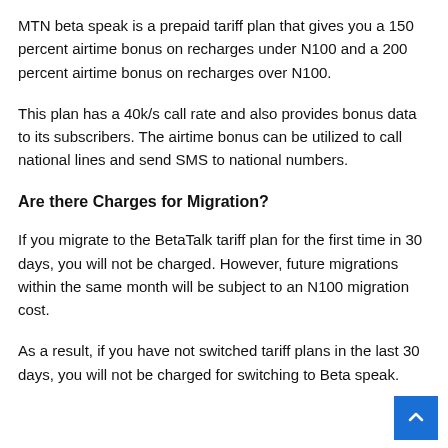MTN beta speak is a prepaid tariff plan that gives you a 150 percent airtime bonus on recharges under N100 and a 200 percent airtime bonus on recharges over N100.
This plan has a 40k/s call rate and also provides bonus data to its subscribers. The airtime bonus can be utilized to call national lines and send SMS to national numbers.
Are there Charges for Migration?
If you migrate to the BetaTalk tariff plan for the first time in 30 days, you will not be charged. However, future migrations within the same month will be subject to an N100 migration cost.
As a result, if you have not switched tariff plans in the last 30 days, you will not be charged for switching to Beta speak.